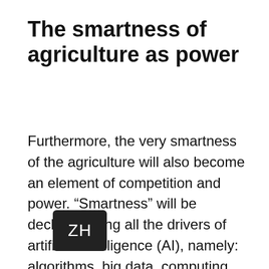The smartness of agriculture as power
Furthermore, the very smartness of the agriculture will also become an element of competition and power. “Smartness” will be declined along all the drivers of artificial intelligence (AI), namely: algorithms, big data, computing power, quantum information science, sensors and actuators, and finally usages (see [link]). For example, we can y here what we explained for high